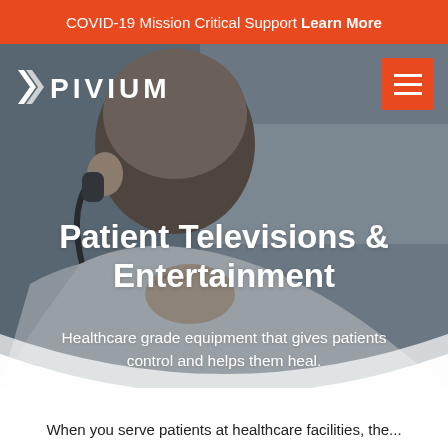COVID-19 Mission Critical Support Learn More
[Figure (screenshot): Hero image of a patient wearing a headset/earpiece, viewed from behind, with a blurred hospital room background. Pivium logo in white top-left, orange hamburger menu top-right.]
Patient Televisions & Entertainment
Healthcare grade equipment that gives patients control and helps them heal.
When you serve patients at healthcare facilities, the...